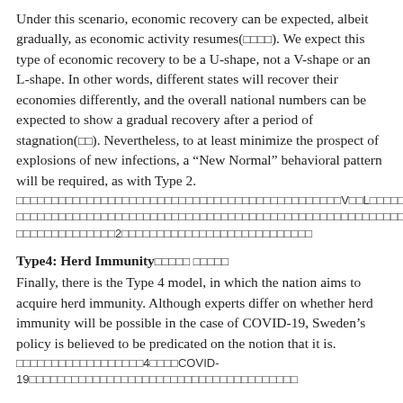Under this scenario, economic recovery can be expected, albeit gradually, as economic activity resumes(□□□□). We expect this type of economic recovery to be a U-shape, not a V-shape or an L-shape. In other words, different states will recover their economies differently, and the overall national numbers can be expected to show a gradual recovery after a period of stagnation(□□). Nevertheless, to at least minimize the prospect of explosions of new infections, a "New Normal" behavioral pattern will be required, as with Type 2.
□□□□□□□□□□□□□□□□□□□□□□□□□□□□□□□□□□□□□□□□□□□□□□V□□L□□□□□□□U□□□□□□ □□□□□□□□□□□□□□□□□□□□□□□□□□□□□□□□□□□□□□□□□□□□□□□□□□□□□□□□□□□□□□□□□□ □□□□□□□□□□□□□□2□□□□□□□□□□□□□□□□□□□□□□□□□□□
Type4: Herd Immunity□□□□□ □□□□□
Finally, there is the Type 4 model, in which the nation aims to acquire herd immunity. Although experts differ on whether herd immunity will be possible in the case of COVID-19, Sweden's policy is believed to be predicated on the notion that it is.
□□□□□□□□□□□□□□□□□□4□□□□COVID-19□□□□□□□□□□□□□□□□□□□□□□□□□□□□□□□□□□□□□□